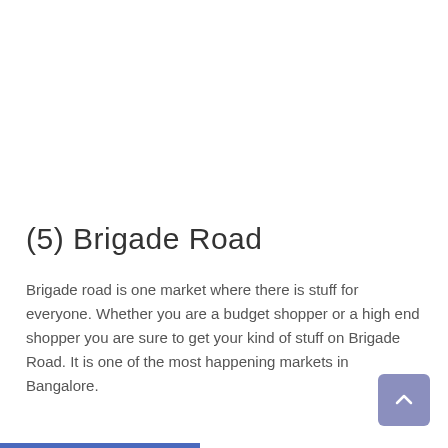(5) Brigade Road
Brigade road is one market where there is stuff for everyone. Whether you are a budget shopper or a high end shopper you are sure to get your kind of stuff on Brigade Road. It is one of the most happening markets in Bangalore.